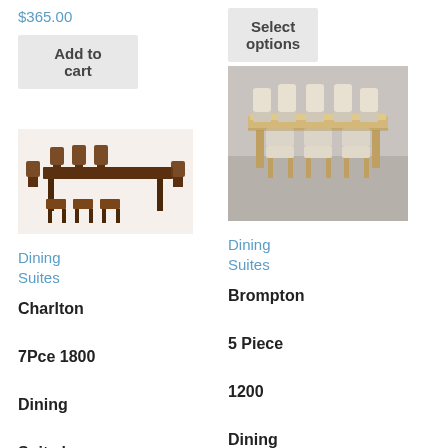$365.00
Add to cart
Select options
[Figure (photo): Dark wood dining table with chairs - 7 piece dining suite]
[Figure (photo): White/cream painted dining table with chairs - Brompton 5 piece dining suite]
Dining Suites
Dining Suites
Charlton 7Pce 1800 Dining Suite | Debonaire
Brompton 5 Piece 1200 Dining Suite |